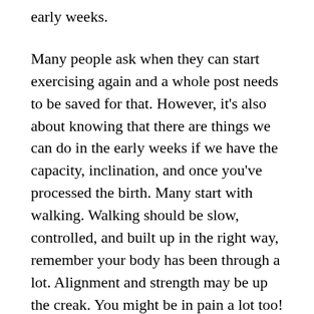early weeks.
Many people ask when they can start exercising again and a whole post needs to be saved for that. However, it’s also about knowing that there are things we can do in the early weeks if we have the capacity, inclination, and once you’ve processed the birth. Many start with walking. Walking should be slow, controlled, and built up in the right way, remember your body has been through a lot. Alignment and strength may be up the creak. You might be in pain a lot too! So although walking is great, take it easy and again think about it as getting some fresh air at first and